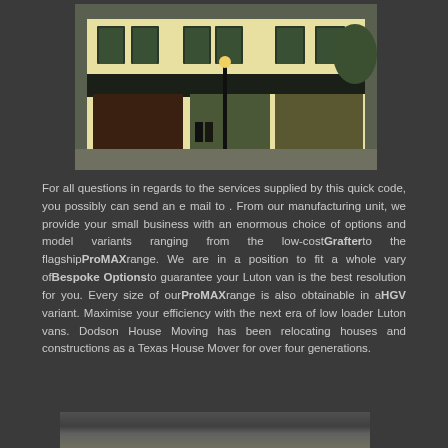[Figure (photo): Exterior photo of a yellow two-story building with dark green shutters and awnings, resembling a restaurant or pub on a street corner]
For all questions in regards to the services supplied by this quick code, you possibly can send an e mail to . From our manufacturing unit, we provide your small business with an enormous choice of options and model variants ranging from the low-costGrafterto the flagshipProMAXrange. We are in a position to fit a whole vary ofBespoke Optionsto guarantee your Luton van is the best resolution for you. Every size of ourProMAXrange is also obtainable in aHGV variant. Maximise your efficiency with the next era of low loader Luton vans. Dodson House Moving has been relocating houses and constructions as a Texas House Mover for over four generations.
[Figure (photo): Partial view of another photo at the bottom of the page]